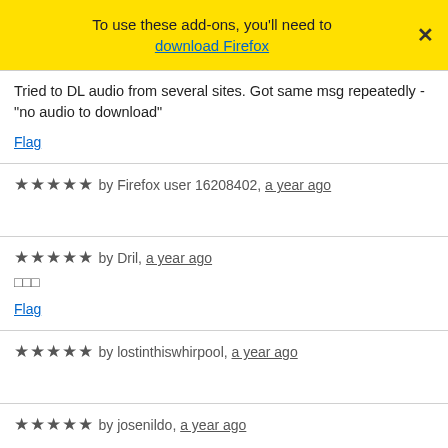To use these add-ons, you'll need to download Firefox
Tried to DL audio from several sites. Got same msg repeatedly - "no audio to download"
Flag
★★★★★ by Firefox user 16208402, a year ago
★★★★★ by Dril, a year ago
□□□
Flag
★★★★★ by lostinthiswhirpool, a year ago
★★★★★ by josenildo, a year ago